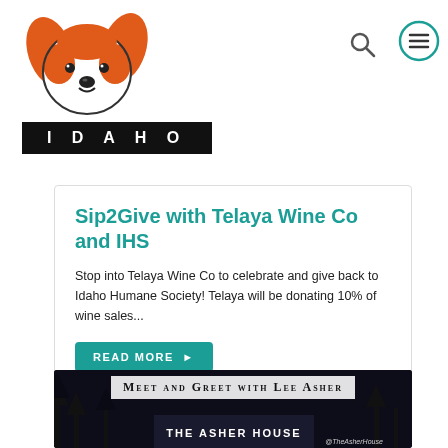[Figure (logo): Idaho Humane Society logo with cartoon dog face in orange and white]
IDAHO
[Figure (other): Search icon (magnifying glass)]
[Figure (other): Menu icon (three horizontal lines in a circle)]
Sip2Give with Telaya Wine Co and IHS
Stop into Telaya Wine Co to celebrate and give back to Idaho Humane Society! Telaya will be donating 10% of wine sales...
READ MORE ▶
[Figure (photo): Meet and Greet with Lee Asher event banner showing The Asher House sign at night with @TheAsherHouse tag]